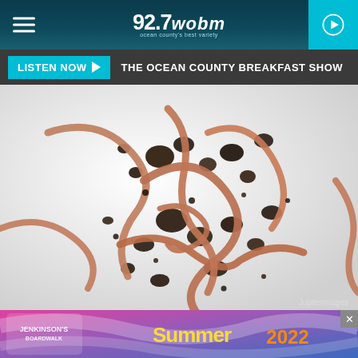92.7 WOBM — ocean county's best variety
LISTEN NOW ▶  THE OCEAN COUNTY BREAKFAST SHOW
[Figure (photo): Earthworms tangled with dark soil clods on a white background. Photo credit: Jupiterimages]
YOU THOUGHT JORO SPIDERS
[Figure (photo): Jenkinson's Boardwalk Summer 2022 advertisement banner with colorful summer-themed imagery]